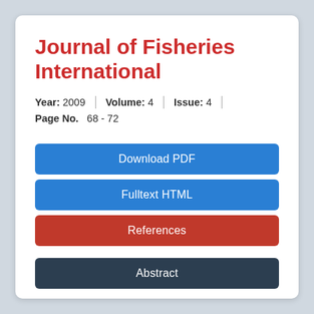Journal of Fisheries International
Year: 2009   Volume: 4   Issue: 4
Page No.  68 - 72
Download PDF
Fulltext HTML
References
Abstract